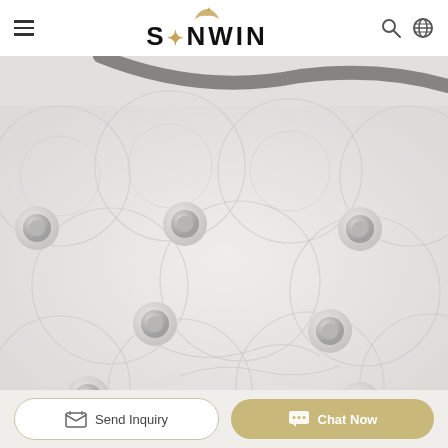SYNWIN
[Figure (photo): Close-up of a white quilted mattress fabric with circular tufting buttons and embossed circular patterns, showing a partial view of a bed with a black headboard at the top]
Send Inquiry
Chat Now